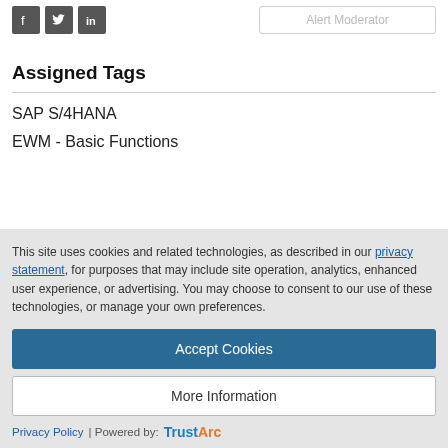[Figure (other): Social media icons for Facebook, Twitter, and LinkedIn, plus an Alert Moderator input box]
Assigned Tags
SAP S/4HANA
EWM - Basic Functions
This site uses cookies and related technologies, as described in our privacy statement, for purposes that may include site operation, analytics, enhanced user experience, or advertising. You may choose to consent to our use of these technologies, or manage your own preferences.
Accept Cookies
More Information
Privacy Policy | Powered by: TrustArc